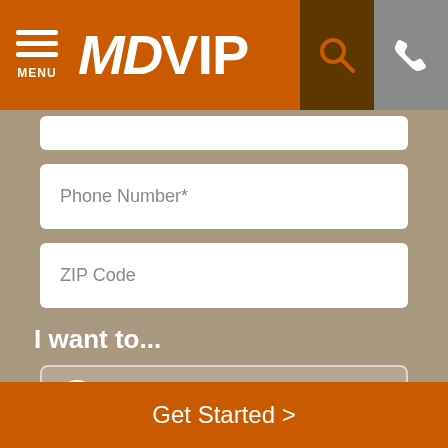MDVIP
Phone Number*
ZIP Code
I want to...
Join Now
Meet the Doctor
Get Started >